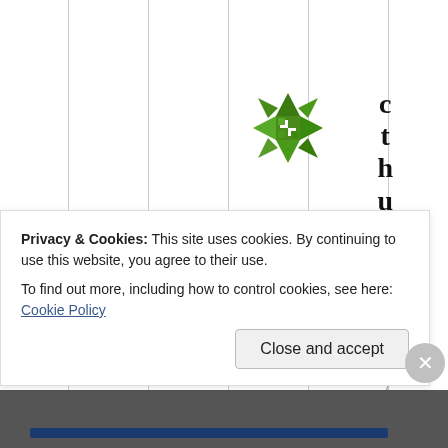[Figure (logo): Green geometric star/cross logo made of triangles and squares]
cthulhu 09/
Privacy & Cookies: This site uses cookies. By continuing to use this website, you agree to their use.
To find out more, including how to control cookies, see here: Cookie Policy
Close and accept